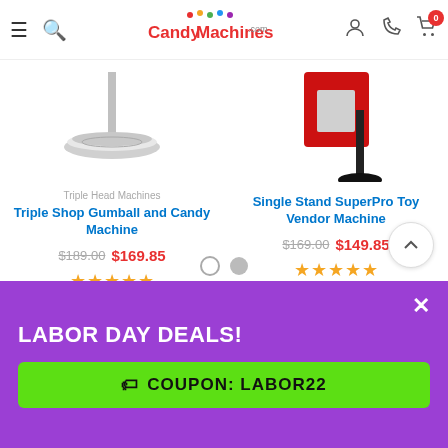CandyMachines.com header with hamburger menu, search icon, logo, user icon, phone icon, cart (0)
[Figure (photo): Triple Head gumball machine stand with chrome base (left product image)]
[Figure (photo): Single Stand SuperPro Toy Vendor Machine with red body and black stand (right product image)]
Triple Head Machines
Triple Shop Gumball and Candy Machine
$189.00  $169.85  ★★★★★
Single Stand SuperPro Toy Vendor Machine
$169.00  $149.85  ★★★★★
LABOR DAY DEALS!
COUPON: LABOR22